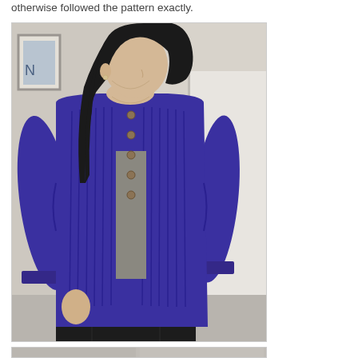otherwise followed the pattern exactly.
[Figure (photo): Woman wearing a blue/purple hand-knitted open-front cardigan with ribbing detail and wooden buttons, paired with black trousers, photographed indoors against a light-colored wall with a framed picture visible in the background.]
[Figure (photo): Partial view of additional photos at the bottom of the page (cropped).]